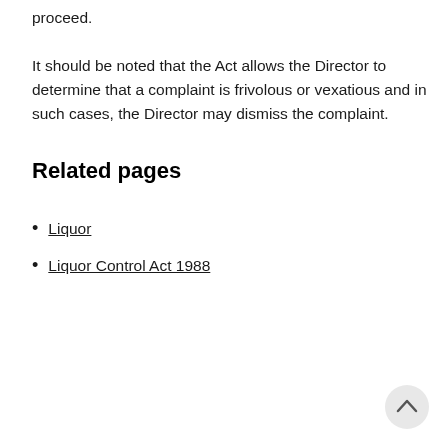proceed.
It should be noted that the Act allows the Director to determine that a complaint is frivolous or vexatious and in such cases, the Director may dismiss the complaint.
Related pages
Liquor
Liquor Control Act 1988